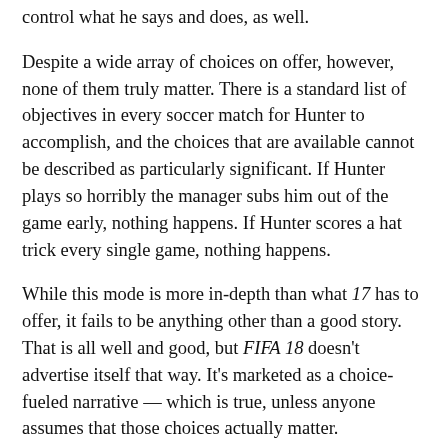control what he says and does, as well.
Despite a wide array of choices on offer, however, none of them truly matter. There is a standard list of objectives in every soccer match for Hunter to accomplish, and the choices that are available cannot be described as particularly significant. If Hunter plays so horribly the manager subs him out of the game early, nothing happens. If Hunter scores a hat trick every single game, nothing happens.
While this mode is more in-depth than what 17 has to offer, it fails to be anything other than a good story. That is all well and good, but FIFA 18 doesn't advertise itself that way. It's marketed as a choice-fueled narrative — which is true, unless anyone assumes that those choices actually matter.
The FIFA Ultimate Team mode also returns and finally offers a somewhat decent way to let someone who isn't looking to spend their entire paycheck on pay-to-play currency actually compete. This has been a gradual change for the series, but it probably should not have taken five years for EA to finally